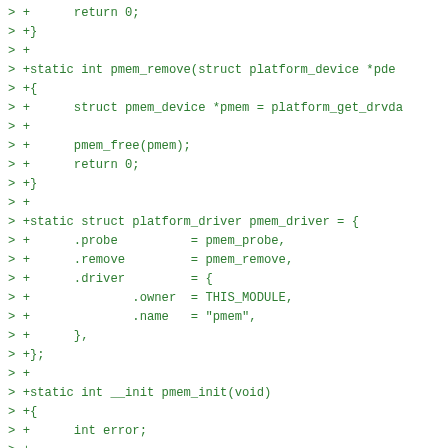[Figure (other): Code diff snippet showing C source code for pmem Linux kernel driver, including pmem_remove function, platform_driver struct initialization, and pmem_init function with blkdev registration]